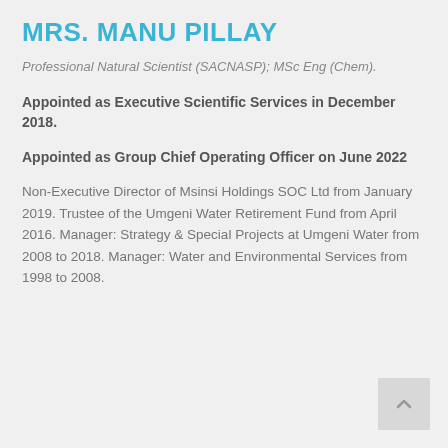MRS. MANU PILLAY
Professional Natural Scientist (SACNASP); MSc Eng (Chem).
Appointed as Executive Scientific Services in December 2018.
Appointed as Group Chief Operating Officer on June 2022
Non-Executive Director of Msinsi Holdings SOC Ltd from January 2019. Trustee of the Umgeni Water Retirement Fund from April 2016. Manager: Strategy & Special Projects at Umgeni Water from 2008 to 2018. Manager: Water and Environmental Services from 1998 to 2008.